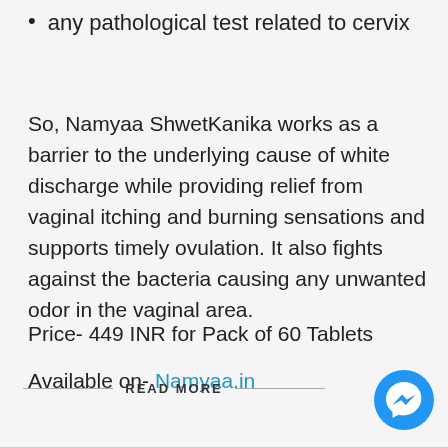any pathological test related to cervix
So, Namyaa ShwetKanika works as a barrier to the underlying cause of white discharge while providing relief from vaginal itching and burning sensations and supports timely ovulation. It also fights against the bacteria causing any unwanted odor in the vaginal area.
Price- 449 INR for Pack of 60 Tablets
Available on- Namyaa.in
READ MORE